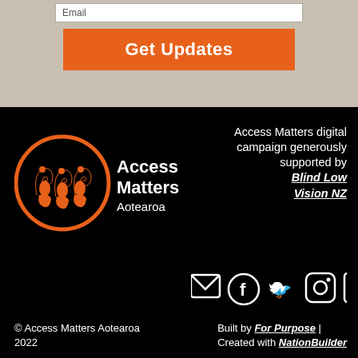Email
Get Updates
[Figure (logo): Access Matters Aotearoa logo — orange circle with stylized M/koru shapes inside, white text 'Access Matters Aotearoa' to the right]
Access Matters digital campaign generously supported by Blind Low Vision NZ
[Figure (infographic): Social media icons: email envelope, Facebook, Twitter, Instagram, LinkedIn — white icons on black background]
© Access Matters Aotearoa 2022
Built by For Purpose | Created with NationBuilder